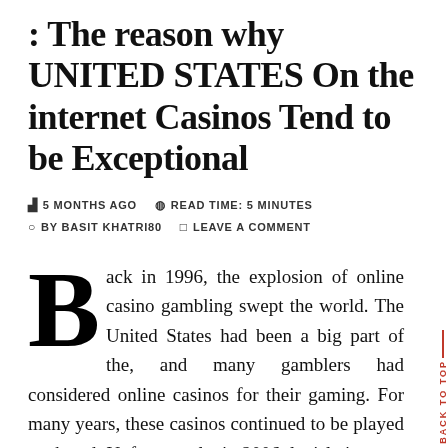: The reason why UNITED STATES On the internet Casinos Tend to be Exceptional
5 MONTHS AGO   READ TIME: 5 MINUTES   BY BASIT KHATRI80   LEAVE A COMMENT
Back in 1996, the explosion of online casino gambling swept the world. The United States had been a big part of the, and many gamblers had considered online casinos for their gaming. For many years, these casinos continued to be played unabated. Unfortunately, in 2006, legislation was passed that caused it to be slightly burdensome for online casinos to keep to operate. This legislation, sneaked in by piggyback